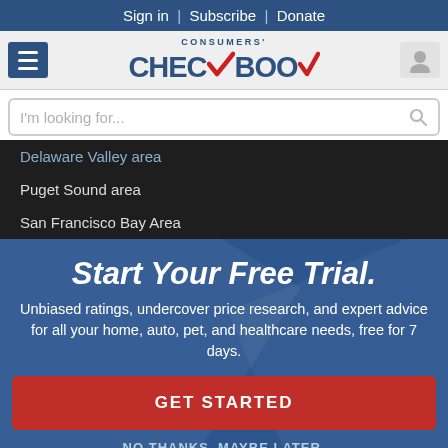Sign in | Subscribe | Donate
[Figure (logo): Consumers' Checkbook logo with red checkmark]
I'm looking for...
Delaware Valley area
Puget Sound area
San Francisco Bay Area
Start Your Free Trial.
Unbiased ratings, undercover price research, and expert advice for all your home, auto, pet, and healthcare needs, free for 7 days.
GET STARTED
NO THANKS, MAYBE LATER.